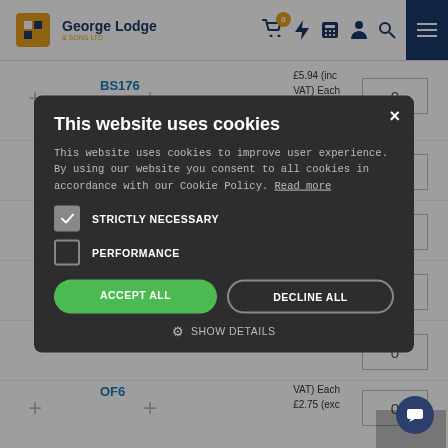George Lodge & Sons Ltd — navigation header with cart, icons, and menu
BS176
£5.94 (inc VAT) Each £4.95 (exc
This website uses cookies
This website uses cookies to improve user experience. By using our website you consent to all cookies in accordance with our Cookie Policy. Read more
STRICTLY NECESSARY
PERFORMANCE
ACCEPT ALL
DECLINE ALL
SHOW DETAILS
OF6
VAT) Each £2.75 (exc